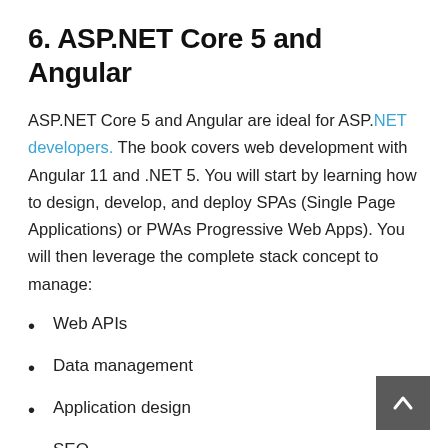6. ASP.NET Core 5 and Angular
ASP.NET Core 5 and Angular are ideal for ASP.NET developers. The book covers web development with Angular 11 and .NET 5. You will start by learning how to design, develop, and deploy SPAs (Single Page Applications) or PWAs Progressive Web Apps). You will then leverage the complete stack concept to manage:
Web APIs
Data management
Application design
SEO